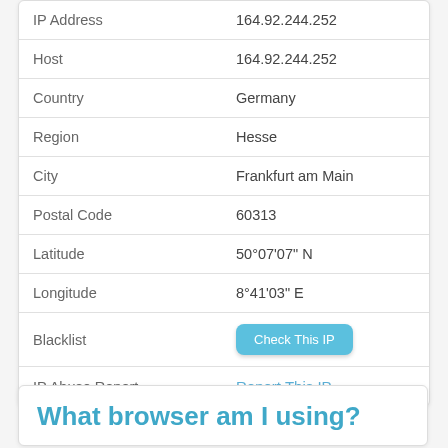| Field | Value |
| --- | --- |
| IP Address | 164.92.244.252 |
| Host | 164.92.244.252 |
| Country | Germany |
| Region | Hesse |
| City | Frankfurt am Main |
| Postal Code | 60313 |
| Latitude | 50°07'07" N |
| Longitude | 8°41'03" E |
| Blacklist | [Check This IP button] |
| IP Abuse Report | Report This IP |
What browser am I using?